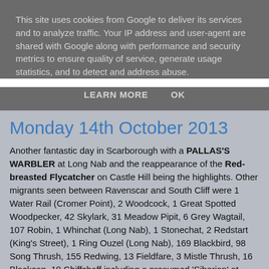This site uses cookies from Google to deliver its services and to analyze traffic. Your IP address and user-agent are shared with Google along with performance and security metrics to ensure quality of service, generate usage statistics, and to detect and address abuse.
LEARN MORE   OK
Monday 14th October 2013
Another fantastic day in Scarborough with a PALLAS'S WARBLER at Long Nab and the reappearance of the Red-breasted Flycatcher on Castle Hill being the highlights. Other migrants seen between Ravenscar and South Cliff were 1 Water Rail (Cromer Point), 2 Woodcock, 1 Great Spotted Woodpecker, 42 Skylark, 31 Meadow Pipit, 6 Grey Wagtail, 107 Robin, 1 Whinchat (Long Nab), 1 Stonechat, 2 Redstart (King's Street), 1 Ring Ouzel (Long Nab), 169 Blackbird, 98 Song Thrush, 155 Redwing, 13 Fieldfare, 3 Mistle Thrush, 16 Blackcap, 19 Chiffchaff including a presumed 'Siberian' at Long Nab, 1 Yellow-browed Warbler